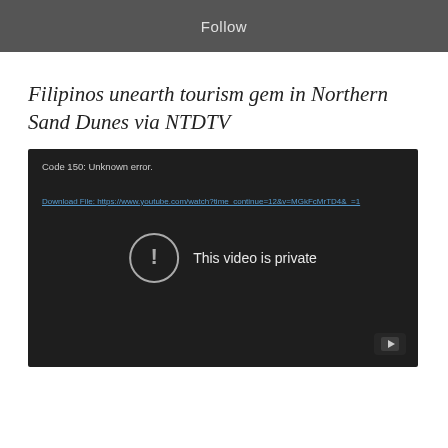Follow
Filipinos unearth tourism gem in Northern Sand Dunes via NTDTV
[Figure (screenshot): YouTube video embed showing error: Code 150: Unknown error. Download File link to youtube.com. Message: This video is private. YouTube play button icon in bottom right corner.]